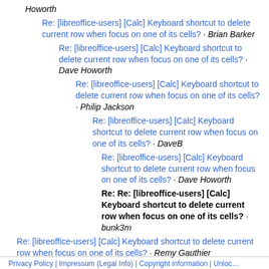Howorth
Re: [libreoffice-users] [Calc] Keyboard shortcut to delete current row when focus on one of its cells? · Brian Barker
Re: [libreoffice-users] [Calc] Keyboard shortcut to delete current row when focus on one of its cells? · Dave Howorth
Re: [libreoffice-users] [Calc] Keyboard shortcut to delete current row when focus on one of its cells? · Philip Jackson
Re: [libreoffice-users] [Calc] Keyboard shortcut to delete current row when focus on one of its cells? · DaveB
Re: [libreoffice-users] [Calc] Keyboard shortcut to delete current row when focus on one of its cells? · Dave Howorth
Re: Re: [libreoffice-users] [Calc] Keyboard shortcut to delete current row when focus on one of its cells? · bunk3m
Re: [libreoffice-users] [Calc] Keyboard shortcut to delete current row when focus on one of its cells? · Remy Gauthier
Privacy Policy | Impressum (Legal Info) | Copyright information | Unloc…